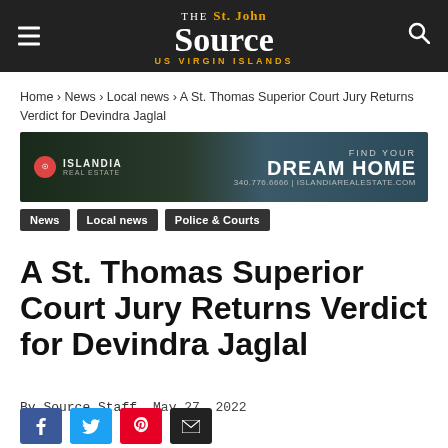THE St. John Source US VIRGIN ISLANDS
Home › News › Local news › A St. Thomas Superior Court Jury Returns Verdict for Devindra Jaglal
[Figure (photo): Islandia Real Estate advertisement banner: Find Your Dream Home, 340.776.6666 | islandiarealestate.com]
News
Local news
Police & Courts
A St. Thomas Superior Court Jury Returns Verdict for Devindra Jaglal
By Source Staff   May 27, 2022